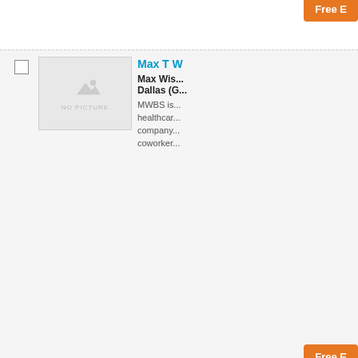[Figure (screenshot): Top orange 'Free E...' button partially visible at the top right.]
Max T W...
Max Wis... Dallas (G... MWBS is... healthcare... company... coworker...
[Figure (photo): No picture placeholder for Max T W listing]
[Figure (screenshot): Orange Free E... button for first listing]
ElijahDu...
July 11, 2... Parrish (... My name... schooling... article an...
[Figure (photo): No picture placeholder for ElijahDu listing]
[Figure (screenshot): Orange Free E... button for second listing]
Jacquel...
July 1, 2... Gardend... Hello! My... Eastern c...
[Figure (photo): No picture placeholder for Jacquel listing]